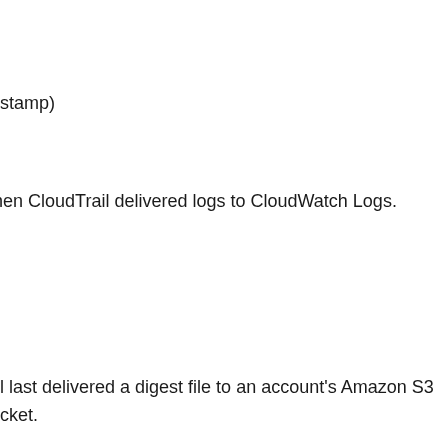nestamp)
when CloudTrail delivered logs to CloudWatch Logs.
rail last delivered a digest file to an account's Amazon S3 bucket.
dTrail encountered when attempting to deliver a digest file to the n, see Error Responses in the Amazon S3 API Reference.
s a problem with the destination S3 bucket, and does not resolve the issue, create a new bucket, and then call bucket; or fix the existing objects so that CloudTrail can